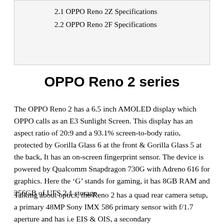2.1 OPPO Reno 2Z Specifications
2.2 OPPO Reno 2F Specifications
OPPO Reno 2 series
The OPPO Reno 2 has a 6.5 inch AMOLED display which OPPO calls as an E3 Sunlight Screen. This display has an aspect ratio of 20:9 and a 93.1% screen-to-body ratio, protected by Gorilla Glass 6 at the front & Gorilla Glass 5 at the back, It has an on-screen fingerprint sensor. The device is powered by Qualcomm Snapdragon 730G with Adreno 616 for graphics. Here the ‘G’ stands for gaming, it has 8GB RAM and 256GB of UFS 2.1 storage.
Talking about optics, the Reno 2 has a quad rear camera setup, a primary 48MP Sony IMX 586 primary sensor with f/1.7 aperture and has i.e EIS & OIS, a secondary